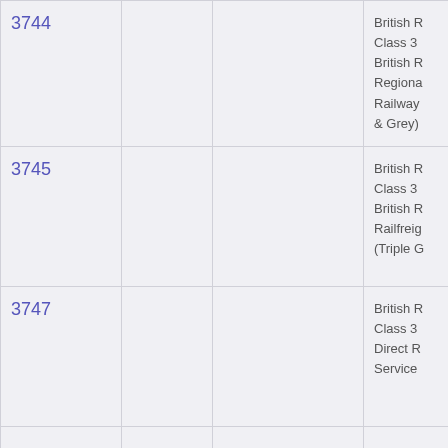| ID |  |  | Description |
| --- | --- | --- | --- |
| 3744 |  |  | British R
Class 3
British R
Regiona
Railway
& Grey) |
| 3745 |  |  | British R
Class 3
British R
Railfreig
(Triple G |
| 3747 |  |  | British R
Class 3
Direct R
Service |